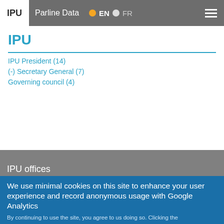IPU  Parline Data  EN  FR
IPU
IPU President (14)
(-) Secretary General (7)
Governing council (4)
IPU offices
Inter-Parliamentary Union
5, chemin du Pommier
Case postale 330
CH-1218 Le Grand-Saconnex
Geneva
We use minimal cookies on this site to enhance your user experience and record anonymous usage with Google Analytics
By continuing to use the site, you agree to us doing so. Clicking the
Accept button will remove this message. More on our policies